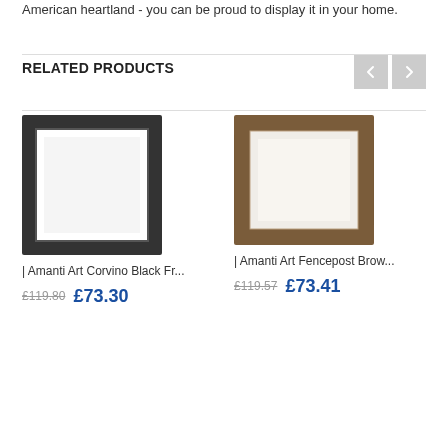American heartland - you can be proud to display it in your home.
RELATED PRODUCTS
[Figure (other): Amanti Art Corvino Black Framed mirror product image]
| Amanti Art Corvino Black Fr...
£119.80  £73.30
[Figure (other): Amanti Art Fencepost Brown framed mirror product image]
| Amanti Art Fencepost Brow...
£119.57  £73.41